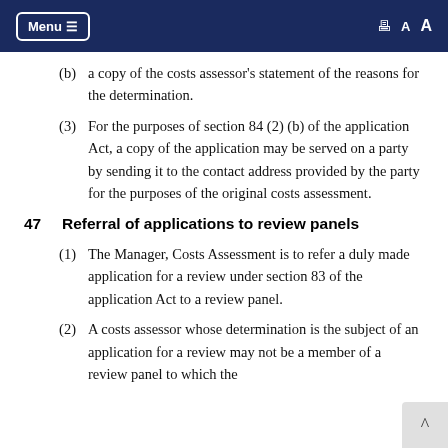Menu  🖨 A A
(b)  a copy of the costs assessor's statement of the reasons for the determination.
(3)  For the purposes of section 84 (2) (b) of the application Act, a copy of the application may be served on a party by sending it to the contact address provided by the party for the purposes of the original costs assessment.
47   Referral of applications to review panels
(1)  The Manager, Costs Assessment is to refer a duly made application for a review under section 83 of the application Act to a review panel.
(2)  A costs assessor whose determination is the subject of an application for a review may not be a member of a review panel to which the